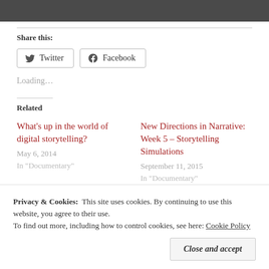[Figure (photo): Dark background photo, partially visible at top of page]
Share this:
Twitter  Facebook
Loading...
Related
What's up in the world of digital storytelling?
May 6, 2014
In "Documentary"
New Directions in Narrative: Week 5 – Storytelling Simulations
September 11, 2015
In "Documentary"
Privacy & Cookies:  This site uses cookies. By continuing to use this website, you agree to their use.
To find out more, including how to control cookies, see here: Cookie Policy
Close and accept